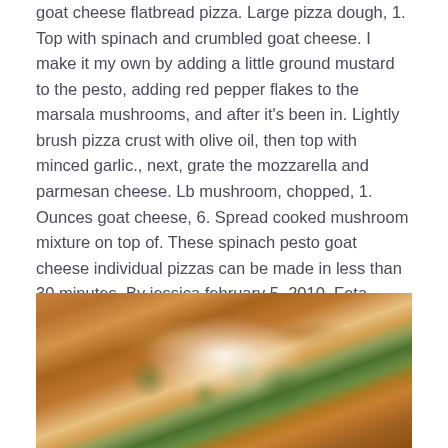goat cheese flatbread pizza. Large pizza dough, 1. Top with spinach and crumbled goat cheese. I make it my own by adding a little ground mustard to the pesto, adding red pepper flakes to the marsala mushrooms, and after it's been in. Lightly brush pizza crust with olive oil, then top with minced garlic., next, grate the mozzarella and parmesan cheese. Lb mushroom, chopped, 1. Ounces goat cheese, 6. Spread cooked mushroom mixture on top of. These spinach pesto goat cheese individual pizzas can be made in less than 30 minutes. By jessica february 5, 2010. Feta cheese, red pepper flakes, spinach, mozzarella cheese, flatbread… Small red onion, sliced, 8. The best spinach flatbread pizza recipes on yummly | three cheese pesto spinach.
[Figure (photo): A photo of flatbread pizza with spinach, melted cheese (visible white cheese), and browned crust on a light surface.]